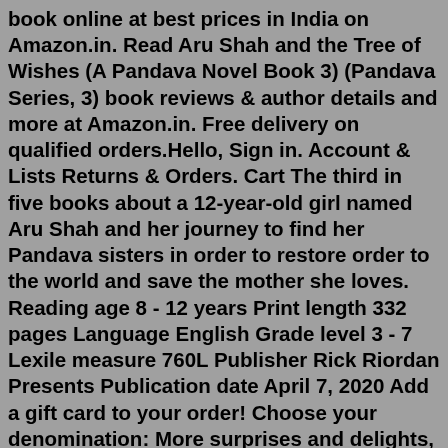book online at best prices in India on Amazon.in. Read Aru Shah and the Tree of Wishes (A Pandava Novel Book 3) (Pandava Series, 3) book reviews & author details and more at Amazon.in. Free delivery on qualified orders.Hello, Sign in. Account & Lists Returns & Orders. Cart The third in five books about a 12-year-old girl named Aru Shah and her journey to find her Pandava sisters in order to restore order to the world and save the mother she loves. Reading age 8 - 12 years Print length 332 pages Language English Grade level 3 - 7 Lexile measure 760L Publisher Rick Riordan Presents Publication date April 7, 2020 Add a gift card to your order! Choose your denomination: More surprises and delights, gods and demons, and laughs and tears await in this immensely satisfying conclusion to the wild ride that began with the lighting of a lamp. Collect the whole series:...Rs. 1,197.00. 1. Aru Shah And Tree Of Wishes. 2. Aru Shah And The Song Of Death. 3. Aru Shah And The End Of Time. Best-selling author Rick Riordan presents this best-selling Pandava